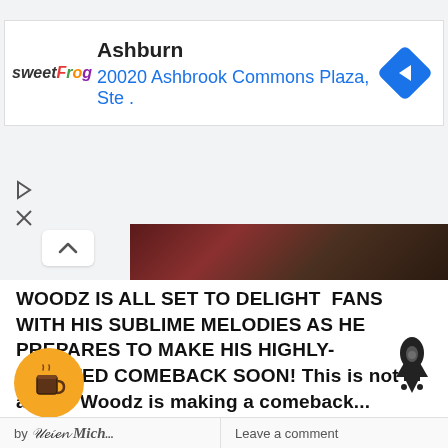[Figure (screenshot): Advertisement banner for sweetFrog frozen yogurt showing location: Ashburn, 20020 Ashbrook Commons Plaza, Ste . with a blue navigation arrow icon]
[Figure (screenshot): UI controls: play/forward triangle icon, X icon, and an up-chevron collapse button]
[Figure (photo): Partial thumbnail image strip showing a dark reddish-brown image, likely a person]
WOODZ IS ALL SET TO DELIGHT FANS WITH HIS SUBLIME MELODIES AS HE PREPARES TO MAKE HIS HIGHLY-AWAITED COMEBACK SOON! This is not a drill! Woodz is making a comeback...
[Figure (illustration): Rocket ship icon in dark gray/black]
[Figure (illustration): Orange circular coffee cup button (Buy Me a Coffee widget)]
by [author signature] Mich...    Leave a comment